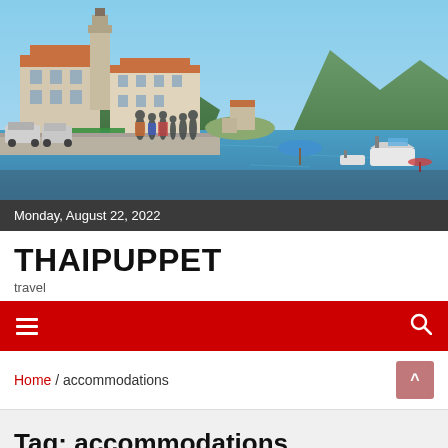[Figure (photo): Coastal Mediterranean town scene with tourists walking along a waterfront promenade, historic stone buildings with orange-tiled roofs, blue bay water with boats, and green mountains in the background]
Monday, August 22, 2022
THAIPUPPET
travel
[Figure (infographic): Red navigation bar with hamburger menu icon on left and search icon on right]
Home / accommodations
Tag: accommodations